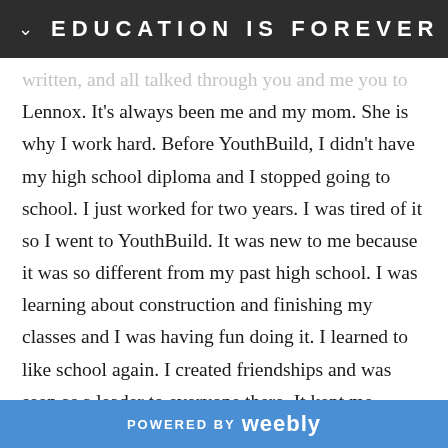EDUCATION IS FOREVER
written, and all talked through you and me you to Lennox. It's always been me and my mom. She is why I work hard. Before YouthBuild, I didn't have my high school diploma and I stopped going to school. I just worked for two years. I was tired of it so I went to YouthBuild. It was new to me because it was so different from my past high school. I was learning about construction and finishing my classes and I was having fun doing it. I learned to like school again. I created friendships and was seen as a leader to everyone there. It kept me working harder than ever. All that hard work paid off because I am now a college student at El Camino College. My major is kinesiology. I'm doing a AA-T so I can
POWERED BY weebly